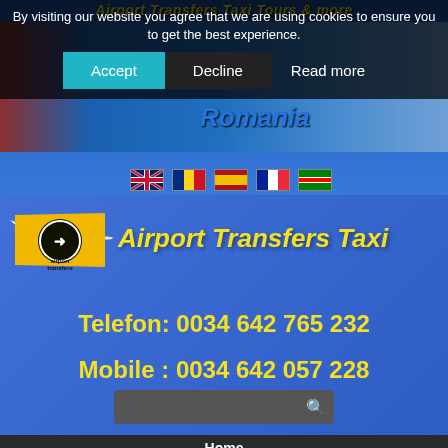[Figure (screenshot): Airport Transfers Taxi website screenshot with cookie consent banner, header image with plane and Romania text, language flags, logo, phone numbers, search bar, and navigation menu.]
By visiting our website you agree that we are using cookies to ensure you to get the best experience.
Accept | Decline | Read more
Airport Transfers Taxi
Telefon: 0034 642 765 232
Mobile : 0034 642 057 228
Home
Bookings
^Back To Top
Register